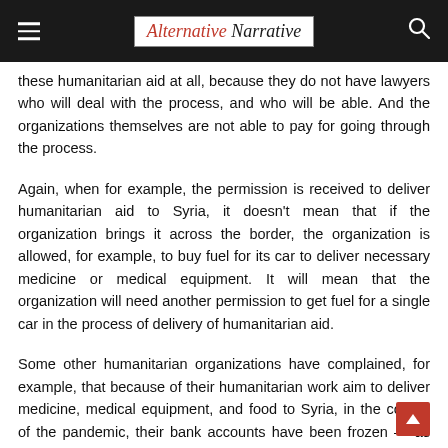Alternative Narrative
these humanitarian aid at all, because they do not have lawyers who will deal with the process, and who will be able. And the organizations themselves are not able to pay for going through the process.
Again, when for example, the permission is received to deliver humanitarian aid to Syria, it doesn't mean that if the organization brings it across the border, the organization is allowed, for example, to buy fuel for its car to deliver necessary medicine or medical equipment. It will mean that the organization will need another permission to get fuel for a single car in the process of delivery of humanitarian aid.
Some other humanitarian organizations have complained, for example, that because of their humanitarian work aim to deliver medicine, medical equipment, and food to Syria, in the course of the pandemic, their bank accounts have been frozen — as well as the bank accounts of their personnel have been frozen. So they basically fall under the secondary sanctions as